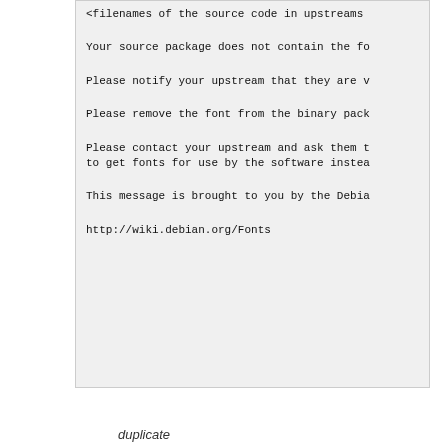<filenames of the source code in upstreams

Your source package does not contain the fo

Please notify your upstream that they are v

Please remove the font from the binary pack

Please contact your upstream and ask them t
to get fonts for use by the software instea

This message is brought to you by the Debia

http://wiki.debian.org/Fonts
duplicate